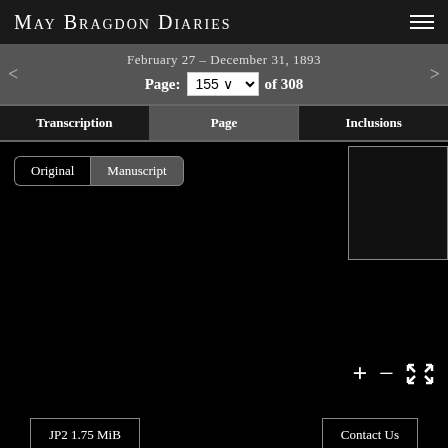May Bragdon Diaries
February 27 – December 31, 1893
Page: 155 of 308
Transcription | Page | Inclusions
Original | Manuscript
[Figure (screenshot): Thumbnail preview panel, empty/dark]
+ − compress
JP2 1.75 MiB
Contact Us